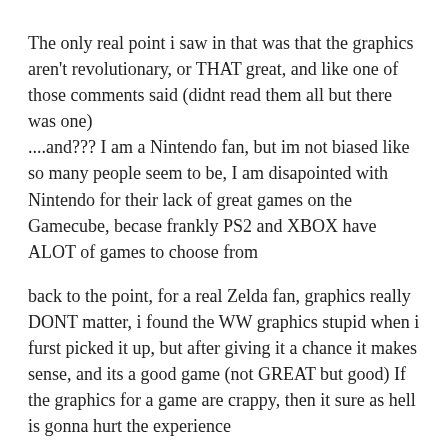The only real point i saw in that was that the graphics aren't revolutionary, or THAT great, and like one of those comments said (didnt read them all but there was one)
....and??? I am a Nintendo fan, but im not biased like so many people seem to be, I am disapointed with Nintendo for their lack of great games on the Gamecube, becase frankly PS2 and XBOX have ALOT of games to choose from
back to the point, for a real Zelda fan, graphics really DONT matter, i found the WW graphics stupid when i furst picked it up, but after giving it a chance it makes sense, and its a good game (not GREAT but good) If the graphics for a game are crappy, then it sure as hell is gonna hurt the experience
but its the gameplay and the presentation and so much else that matters!!! The only point you made was the graphics! and YOU doubt they'll change up the game much! I dont really want them to! They stay with the same basic formula